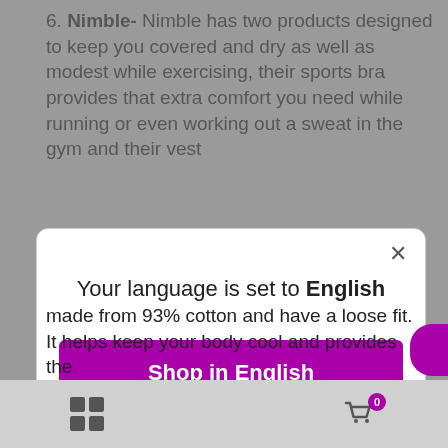6. Nimble- Nimble has two products designed to keep you covered and dry as well as modest while exercising, their sports bra provides that extra comfort you need while running or even working out a sweat in the gym and their vest
[Figure (screenshot): A language selection modal dialog with the message 'Your language is set to English', a purple 'Shop in English' button, and a 'Change language' link. There is an X close button in the top right corner.]
made from 93% cotton and have a loose fit. It helps keep your body cool and provides the
grid icon  cart icon with badge 0